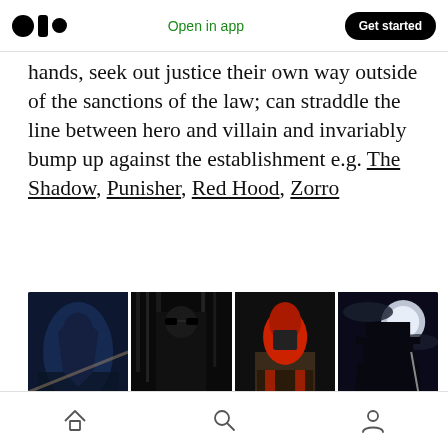Medium logo | Open in app | Get started
hands, seek out justice their own way outside of the sanctions of the law; can straddle the line between hero and villain and invariably bump up against the establishment e.g. The Shadow, Punisher, Red Hood, Zorro
[Figure (photo): Four side-by-side comic/movie character images: The Shadow (comic art, dark blue tones), The Punisher (dark figure with skull emblem, sunglasses), Red Hood (figure in red hood and brown jacket), Zorro (cloaked figure with sword against moonlit sky)]
Home | Search | Profile navigation icons